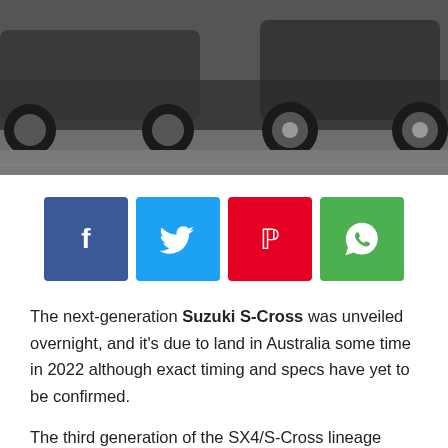[Figure (photo): Car photo showing rear/side of vehicles on a road, dark background]
[Figure (infographic): Social share buttons: Facebook (blue), Twitter (cyan), Pinterest (red), WhatsApp (green)]
The next-generation Suzuki S-Cross was unveiled overnight, and it's due to land in Australia some time in 2022 although exact timing and specs have yet to be confirmed.
The third generation of the SX4/S-Cross lineage seems to feature a larger body than before, which should mean improved interior space.
Styling has been changed, with the new car adopting a more orthodox crossover design rather than the tall-wagon look of